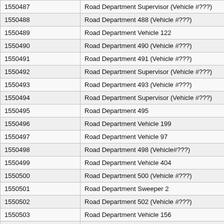| 1550487 | Road Department Supervisor (Vehicle #???) |
| 1550488 | Road Department 488 (Vehicle #???) |
| 1550489 | Road Department Vehicle 122 |
| 1550490 | Road Department 490 (Vehicle #???) |
| 1550491 | Road Department 491 (Vehicle #???) |
| 1550492 | Road Department Supervisor (Vehicle #???) |
| 1550493 | Road Department 493 (Vehicle #???) |
| 1550494 | Road Department Supervisor (Vehicle #???) |
| 1550495 | Road Department 495 |
| 1550496 | Road Department Vehicle 199 |
| 1550497 | Road Department Vehicle 97 |
| 1550498 | Road Department 498 (Vehicle#???) |
| 1550499 | Road Department Vehicle 404 |
| 1550500 | Road Department 500 (Vehicle #???) |
| 1550501 | Road Department Sweeper 2 |
| 1550502 | Road Department 502 (Vehicle #???) |
| 1550503 | Road Department Vehicle 156 |
| 1550504 | Road Department Vehicle 426 |
| 1550505 | Road Department 505 (Vehicle#???) |
| 1550506 | Road Department 506 (Vehicle #???) |
| 1550507 | Road Department 507 |
| 1550508 | Road Department Sweeper 5 |
| 1550509 | Road Department Vehicle 146 |
| 1550510 | Road Department 510 |
| 1550511 | Road Department Vehicle 71 |